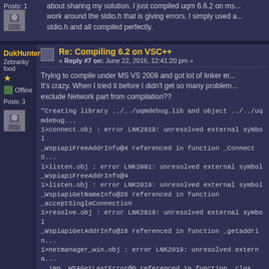Posts: 1
about sharing my solution. I just compiled uqm 6.6.2 on ms... work around the stdio.h that is giving errors, I simply used a... stdio.h and all compiled perfectly.
[Figure (other): Small avatar image]
DukHunter
Zebranky food
★
Offline
Posts: 3
Re: Compiling 6.2 on VSC++
« Reply #7 on: June 22, 2016, 12:41:20 pm »
Trying to compile under MS VS 2008 and got lot of linker er... It's crazy. When I tried it before I didn't get so many problem... exclude Network part from compilation??
"Creating library ../../uqmdebug.lib and object ../../uqmdebug...
1>connect.obj : error LNK2019: unresolved external symbol
_WspiapiFreeAddrInfo@4 referenced in function _ConnectS...
1>listen.obj : error LNK2001: unresolved external symbol
_WspiapiFreeAddrInfo@4
1>listen.obj : error LNK2019: unresolved external symbol
_WspiapiGetNameInfo@28 referenced in function
_acceptSingleConnection
1>resolve.obj : error LNK2019: unresolved external symbol
_WspiapiGetAddrInfo@16 referenced in function _getaddrin...
1>netmanager_win.obj : error LNK2019: unresolved externa...
__imp__WSAGetLastError@0 referenced in function _close...
1>netport.obj : error LNK2001: unresolved external symbol
__imp__WSAGetLastError@0
1>netmanager_win.obj : error LNK2019: unresolved externa...
__imp__WSACloseEvent@4 referenced in function _closeW...
1>netmanager_win.obj : error LNK2019: unresolved exter...
[Figure (other): Small avatar image]